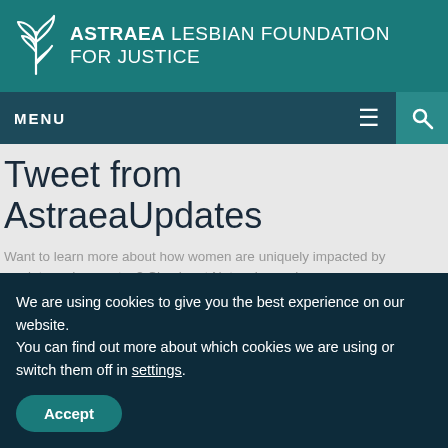ASTRAEA LESBIAN FOUNDATION FOR JUSTICE
MENU
Tweet from AstraeaUpdates
Want to learn more about how women are uniquely impacted by predatory phone rates? Check out Network member ...
Author @AstraeaUpdates Posted on March 8, 2019March 8,
We are using cookies to give you the best experience on our website.
You can find out more about which cookies we are using or switch them off in settings.
Accept